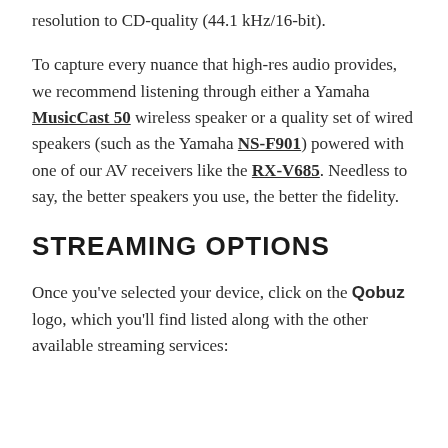resolution to CD-quality (44.1 kHz/16-bit).
To capture every nuance that high-res audio provides, we recommend listening through either a Yamaha MusicCast 50 wireless speaker or a quality set of wired speakers (such as the Yamaha NS-F901) powered with one of our AV receivers like the RX-V685. Needless to say, the better speakers you use, the better the fidelity.
STREAMING OPTIONS
Once you've selected your device, click on the Qobuz logo, which you'll find listed along with the other available streaming services: